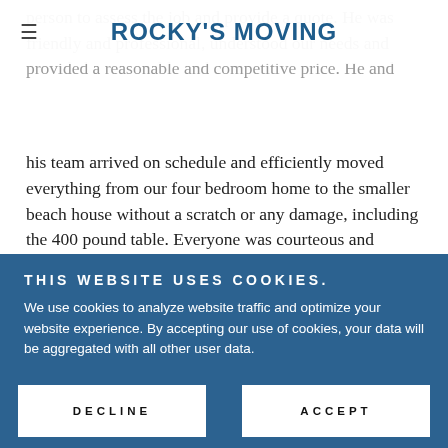ROCKY'S MOVING
person to assess the job and provide a quote. He was friendly and professional, understood our needs and provided a reasonable and competitive price. He and his team arrived on schedule and efficiently moved everything from our four bedroom home to the smaller beach house without a scratch or any damage, including the 400 pound table. Everyone was courteous and professional and exactly what you want for a difficult move. In the end they were nearly $500 under the already competitive estimate. I would recommend Rocky's
THIS WEBSITE USES COOKIES.
We use cookies to analyze website traffic and optimize your website experience. By accepting our use of cookies, your data will be aggregated with all other user data.
DECLINE
ACCEPT